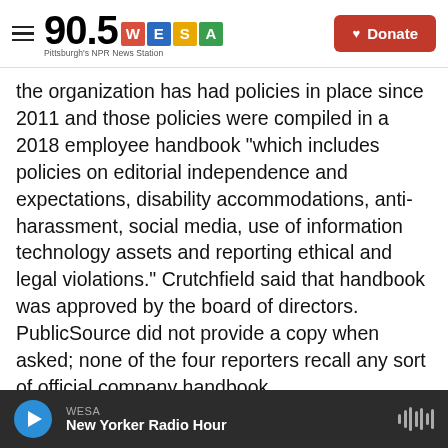90.5 WESA — Pittsburgh's NPR News Station | Donate
the organization has had policies in place since 2011 and those policies were compiled in a 2018 employee handbook "which includes policies on editorial independence and expectations, disability accommodations, anti-harassment, social media, use of information technology assets and reporting ethical and legal violations." Crutchfield said that handbook was approved by the board of directors. PublicSource did not provide a copy when asked; none of the four reporters recall any sort of official company handbook.

PublicSource is a non-profit, online investigative
WESA — New Yorker Radio Hour